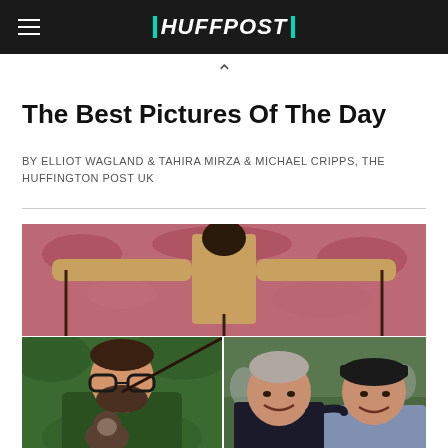HUFFPOST
The Best Pictures Of The Day
BY ELLIOT WAGLAND & TAHIRA MIRZA & MICHAEL CRIPPS, THE HUFFINGTON POST UK
[Figure (photo): Collage of three photos: top photo shows a person with arms outstretched in front of a field of pink flowers; bottom-left photo shows a man with glasses and a green shirt interacting with a small monkey; bottom-right photo shows two smiling older men posing together outdoors.]